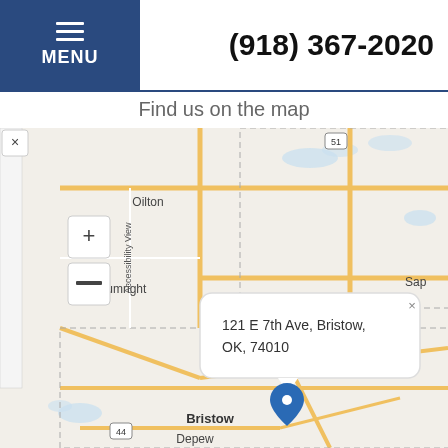MENU  (918) 367-2020
Find us on the map
[Figure (map): Street map showing Bristow, OK area with surrounding towns Oilton, Drumright, Kellyville, Depew, and Sapulpa. A blue location pin marks Bristow, OK on the map. A popup tooltip shows the address: 121 E 7th Ave, Bristow, OK, 74010. Map includes highway markers 51 and 44, and has zoom in (+) and zoom out (-) controls.]
121 E 7th Ave, Bristow, OK, 74010